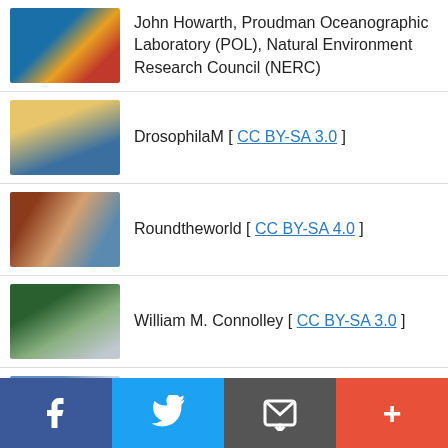John Howarth, Proudman Oceanographic Laboratory (POL), Natural Environment Research Council (NERC)
DrosophilaM [ CC BY-SA 3.0 ]
Roundtheworld [ CC BY-SA 4.0 ]
William M. Connolley [ CC BY-SA 3.0 ]
British Antarctic Survey
British Antarctic Survey
f  [Twitter bird]  [Email icon]  +